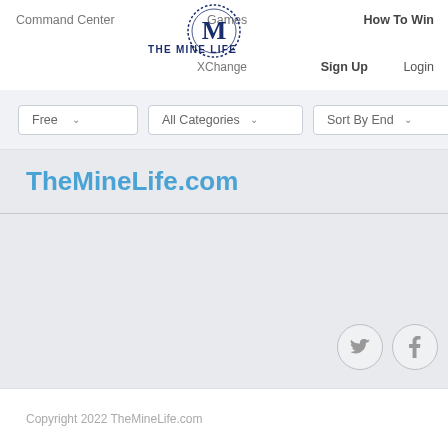[Figure (logo): The Mine Life circular logo with letter M in dark navy blue, dotted border circle]
Command Center  Games  THE MINE LIFE  How To Win  XChange  Sign Up  Login
Free  All Categories  Sort By End
TheMineLife.com
Copyright 2022 TheMineLife.com